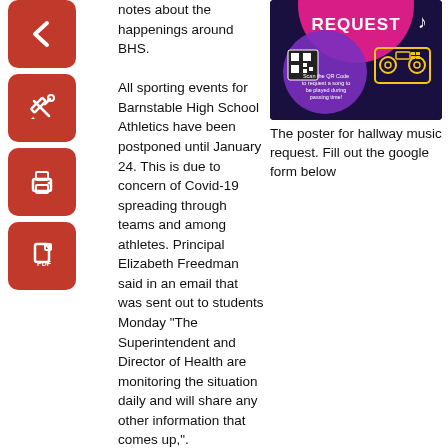[Figure (illustration): Red square icon with white left-arrow (back button)]
[Figure (illustration): Red square icon with white pencil/edit symbol]
[Figure (illustration): Red square icon with white printer symbol]
[Figure (illustration): Red square icon with white PDF/document symbol]
notes about the happenings around BHS. All sporting events for Barnstable High School Athletics have been postponed until January 24. This is due to concern of Covid-19 spreading through teams and among athletes. Principal Elizabeth Freedman said in an email that was sent out to students Monday "The Superintendent and Director of Health are monitoring the situation daily and will share any other information that comes up,".
[Figure (illustration): Poster for hallway music request on dark background with pink and purple circles and yellow boombox graphic, QR code, text 'Scan the QR Code to request a song to be played during passing time!']
The poster for hallway music request. Fill out the google form below
Vape Sensors are up and running in all bathrooms. Administration has been satisfied with the accuracy of the detectors. Freedman emphasizes that the point of the sensors is to help prevent students from vaping. "We don't want to catch students, we just don't want them to do it," said Freedman
Administration is currently working on bringing assemblies back for students. This includes the renaissance fair for students who have made honor rolls. They are also working on planning a mid-year assembly.
Due to health and safety concerns caused by COVID-19 a